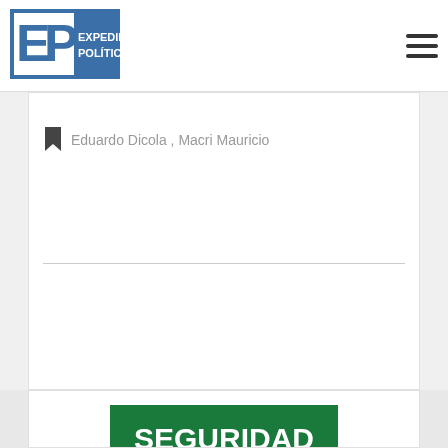[Figure (logo): Expediente Político logo — EP initials in blue/white block with blue text 'EXPEDIENTE POLÍTICO']
Eduardo Dicola , Macri Mauricio
[Figure (illustration): Green banner image reading 'SEGURIDAD MERLO CRECE' in white bold text on dark green background]